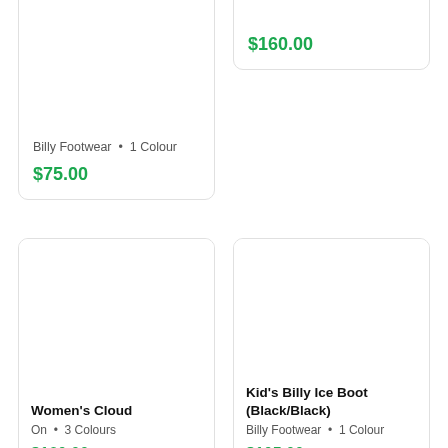Billy Footwear • 1 Colour
$75.00
$160.00
Women's Cloud
On • 3 Colours
$160.00
Kid's Billy Ice Boot (Black/Black)
Billy Footwear • 1 Colour
$105.00